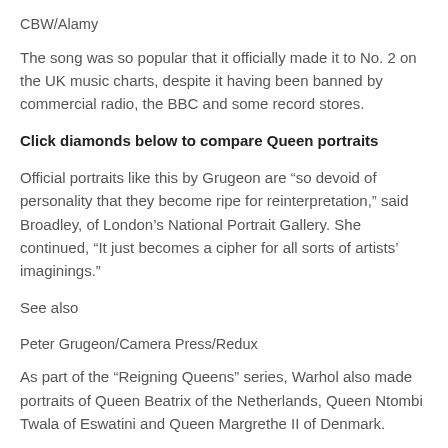CBW/Alamy
The song was so popular that it officially made it to No. 2 on the UK music charts, despite it having been banned by commercial radio, the BBC and some record stores.
Click diamonds below to compare Queen portraits
Official portraits like this by Grugeon are “so devoid of personality that they become ripe for reinterpretation,” said Broadley, of London’s National Portrait Gallery. She continued, “It just becomes a cipher for all sorts of artists’ imaginings.”
See also
Peter Grugeon/Camera Press/Redux
As part of the “Reigning Queens” series, Warhol also made portraits of Queen Beatrix of the Netherlands, Queen Ntombi Twala of Eswatini and Queen Margrethe II of Denmark.
Ian Gavan/Getty Images
Renowned visual artist Andy Warhol, the same day of